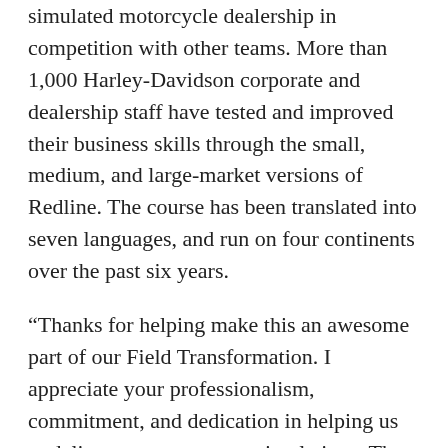Redline course, attendees lead and manage a simulated motorcycle dealership in competition with other teams. More than 1,000 Harley-Davidson corporate and dealership staff have tested and improved their business skills through the small, medium, and large-market versions of Redline. The course has been translated into seven languages, and run on four continents over the past six years.
“Thanks for helping make this an awesome part of our Field Transformation. I appreciate your professionalism, commitment, and dedication in helping us to deliver some awesome simulations. The PriSim team was very flexible and adaptable when designing a solution that would fit our specific needs. We had a very specific vision, and they ensured the final deliverable was on brand, on target, and aligned with our specific goals and metrics. It is clear that they